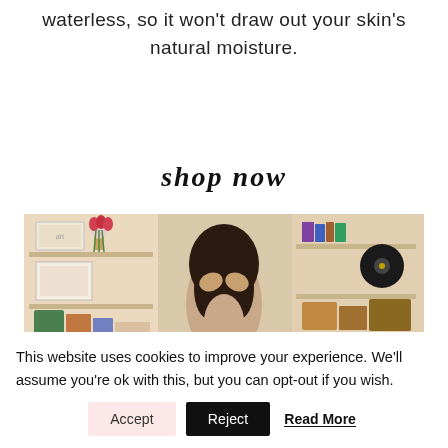waterless, so it won't draw out your skin's natural moisture.
[Figure (illustration): Handwritten-style text reading 'shop now' in black script font]
[Figure (photo): A person with dark hair, hands raised touching their hair, standing in front of shelves with books, decorative items, and a vase with red tulips in a warm-toned room]
This website uses cookies to improve your experience. We'll assume you're ok with this, but you can opt-out if you wish.
Accept  Reject  Read More